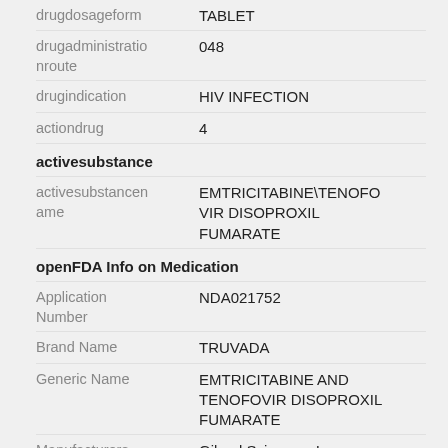| Field | Value |
| --- | --- |
| drugdosageform | TABLET |
| drugadministrationroute | 048 |
| drugindication | HIV INFECTION |
| actiondrug | 4 |
| activesubstance |  |
| activesubstancename | EMTRICITABINE\TENOFOVIR DISOPROXIL FUMARATE |
| openFDA Info on Medication |  |
| Application Number | NDA021752 |
| Brand Name | TRUVADA |
| Generic Name | EMTRICITABINE AND TENOFOVIR DISOPROXIL FUMARATE |
| Manufacturers | Gilead Sciences, Inc |